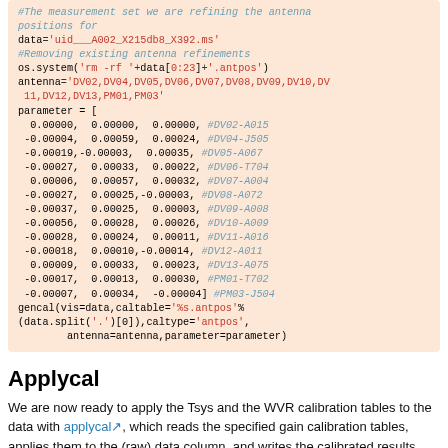#The measurement set we are refining the antenna positions for
data='uid___A002_X215db8_X392.ms'
#Removing existing antenna refinements
os.system('rm -rf '+data[0:23]+'.antpos')
antenna='DV02,DV04,DV05,DV06,DV07,DV08,DV09,DV10,DV11,DV12,DV13,PM01,PM03'
parameter = [
 0.00000, 0.00000, 0.00000, #DV02-A015
-0.00004, 0.00059, 0.00024, #DV04-J505
-0.00019,-0.00003, 0.00035, #DV05-A067
-0.00027, 0.00033, 0.00022, #DV06-T704
 0.00006, 0.00057, 0.00032, #DV07-A004
-0.00027, 0.00025,-0.00003, #DV08-A072
-0.00037, 0.00025, 0.00003, #DV09-A008
-0.00056, 0.00028, 0.00026, #DV10-A009
-0.00028, 0.00024, 0.00011, #DV11-A016
-0.00018, 0.00010,-0.00014, #DV12-A011
 0.00009, 0.00033, 0.00023, #DV13-A075
-0.00017, 0.00013, 0.00030, #PM01-T702
-0.00007, 0.00034, -0.00004] #PM03-J504
gencal(vis=data,caltable='%s.antpos'%
(data.split('.')[0]),caltype='antpos',
        antenna=antenna,parameter=parameter)
Applycal
We are now ready to apply the Tsys and the WVR calibration tables to the data with applycal, which reads the specified gain calibration tables, applies them to the (raw) data column, and writes the calibrated results into